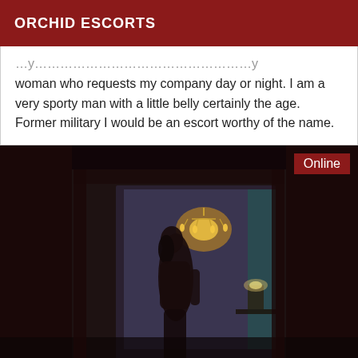ORCHID ESCORTS
woman who requests my company day or night. I am a very sporty man with a little belly certainly the age. Former military I would be an escort worthy of the name.
[Figure (photo): Dark interior room photo showing a silhouette of a person standing in a doorway with a chandelier light visible in the background. An 'Online' badge is shown in the top right corner with a red background.]